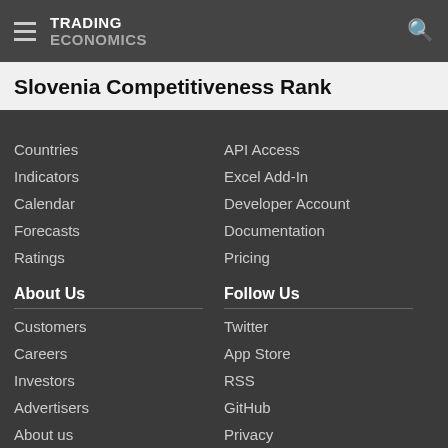TRADING ECONOMICS
Slovenia Competitiveness Rank
Countries
Indicators
Calendar
Forecasts
Ratings
API Access
Excel Add-In
Developer Account
Documentation
Pricing
About Us
Follow Us
Customers
Careers
Investors
Advertisers
About us
Twitter
App Store
RSS
GitHub
Privacy
Copyright ©2022 TRADING ECONOMICS
All Rights Reserved